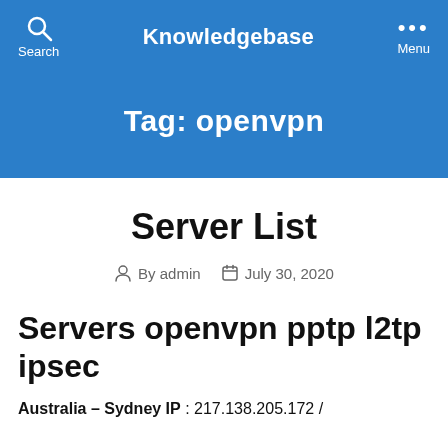Knowledgebase
Tag: openvpn
Server List
By admin   July 30, 2020
Servers openvpn pptp l2tp ipsec
Australia – Sydney IP : 217.138.205.172 /